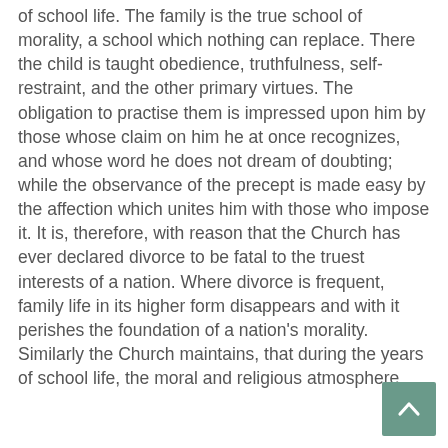of school life. The family is the true school of morality, a school which nothing can replace. There the child is taught obedience, truthfulness, self-restraint, and the other primary virtues. The obligation to practise them is impressed upon him by those whose claim on him he at once recognizes, and whose word he does not dream of doubting; while the observance of the precept is made easy by the affection which unites him with those who impose it. It is, therefore, with reason that the Church has ever declared divorce to be fatal to the truest interests of a nation. Where divorce is frequent, family life in its higher form disappears and with it perishes the foundation of a nation's morality. Similarly the Church maintains, that during the years of school life, the moral and religious atmosphere
[Figure (other): Back to top button - a teal/green square button with an upward-pointing chevron/arrow icon]